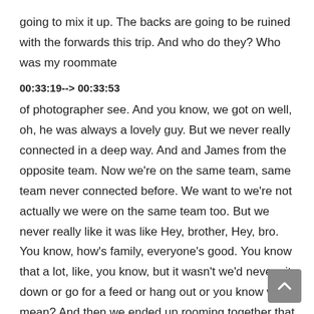going to mix it up. The backs are going to be ruined with the forwards this trip. And who do they? Who was my roommate
00:33:19--> 00:33:53
of photographer see. And you know, we got on well, oh, he was always a lovely guy. But we never really connected in a deep way. And and James from the opposite team. Now we're on the same team, same team never connected before. We want to we're not actually we were on the same team too. But we never really like it was like Hey, brother, Hey, bro. You know, how's family, everyone's good. You know that a lot, like, you know, but it wasn't we'd never sit down or go for a feed or hang out or you know what I mean? And then we ended up rooming together that weekend. So Paula, you know, he's a brother now and